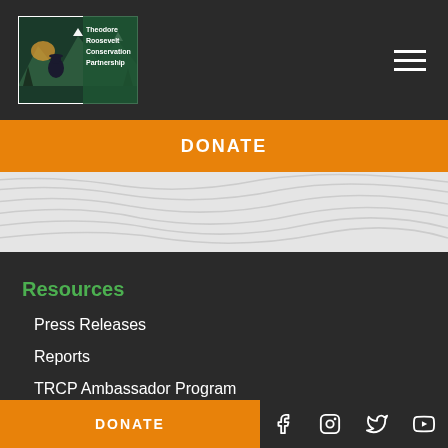[Figure (logo): Theodore Roosevelt Conservation Partnership logo with wilderness scene]
DONATE
Resources
Press Releases
Reports
TRCP Ambassador Program
TRCP Statement of Values
DONATE